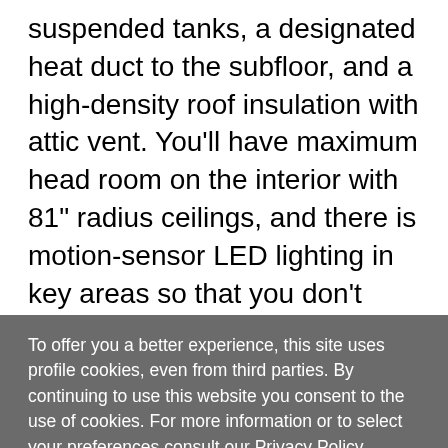suspended tanks, a designated heat duct to the subfloor, and a high-density roof insulation with attic vent. You'll have maximum head room on the interior with 81" radius ceilings, and there is motion-sensor LED lighting in key areas so that you don't have to search for light switches in the dark. The exclusive drop-frame pass-through storage compartment is going to allow you to bring along lots of equipment, and the universal docking station is an all-in-one location for utilities and hook-ups. You'll also have industry-leading tank capacities so that you can fill and
To offer you a better experience, this site uses profile cookies, even from third parties. By continuing to use this website you consent to the use of cookies. For more information or to select your preferences consult our Privacy Policy